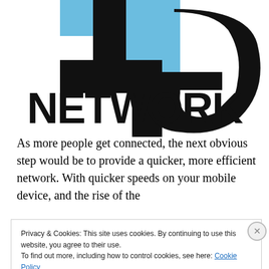[Figure (logo): 4G Network logo with blue and black geometric shapes forming letters '4G' above the word NETWORK in bold black sans-serif]
As more people get connected, the next obvious step would be to provide a quicker, more efficient network. With quicker speeds on your mobile device, and the rise of the
Privacy & Cookies: This site uses cookies. By continuing to use this website, you agree to their use.
To find out more, including how to control cookies, see here: Cookie Policy
Close and accept